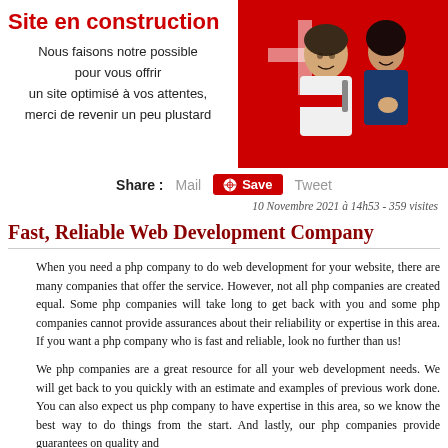Site en construction
Nous faisons notre possible pour vous offrir un site optimisé à vos attentes, merci de revenir un peu plustard
[Figure (photo): A man and woman smiling in front of a red background, the woman holding a paint roller]
Share :   Mail   Save   Tweet
10 Novembre 2021 à 14h53 - 359 visites
Fast, Reliable Web Development Company
When you need a php company to do web development for your website, there are many companies that offer the service. However, not all php companies are created equal. Some php companies will take long to get back with you and some php companies cannot provide assurances about their reliability or expertise in this area. If you want a php company who is fast and reliable, look no further than us!
We php companies are a great resource for all your web development needs. We will get back to you quickly with an estimate and examples of previous work done. You can also expect us php company to have expertise in this area, so we know the best way to do things from the start. And lastly, our php companies provide guarantees on quality and